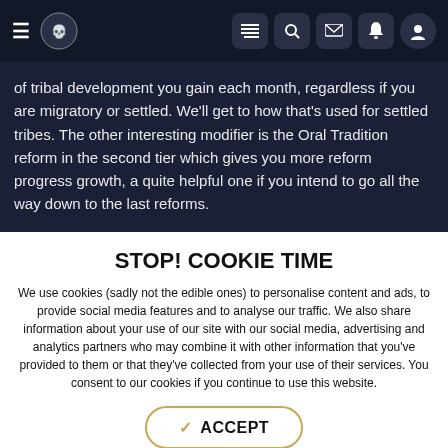Navigation header with hamburger menu, logo, and icon buttons (list, search, mail, bell, user)
of tribal development you gain each month, regardless if you are migratory or settled. We'll get to how that's used for settled tribes. The other interesting modifier is the Oral Tradition reform in the second tier which gives you more reform progress growth, a quite helpful one if you intend to go all the way down to the last reforms.

After those two levels of reforms you will be presented with the option to settle down (if you are migratory). This will enable you to take direct control of the tribal land to grow in and build up your tribe.
STOP! COOKIE TIME
We use cookies (sadly not the edible ones) to personalise content and ads, to provide social media features and to analyse our traffic. We also share information about your use of our site with our social media, advertising and analytics partners who may combine it with other information that you've provided to them or that they've collected from your use of their services. You consent to our cookies if you continue to use this website.
✓ ACCEPT